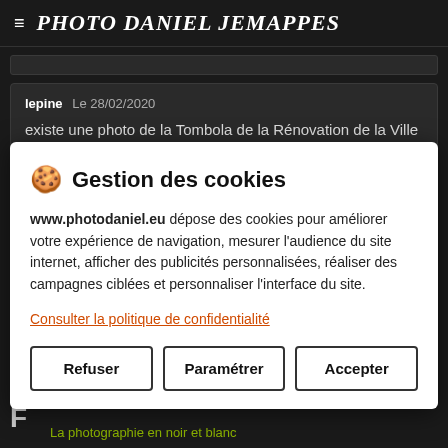≡  PHOTO DANIEL JEMAPPES
lepine Le 28/02/2020
existe une photo de la Tombola de la Rénovation de la Ville de Mons. années 1950/1960 ils sillonnaient ...
🍪 Gestion des cookies
www.photodaniel.eu dépose des cookies pour améliorer votre expérience de navigation, mesurer l'audience du site internet, afficher des publicités personnalisées, réaliser des campagnes ciblées et personnaliser l'interface du site.
Consulter la politique de confidentialité
Refuser    Paramétrer    Accepter
La photographie en noir et blanc